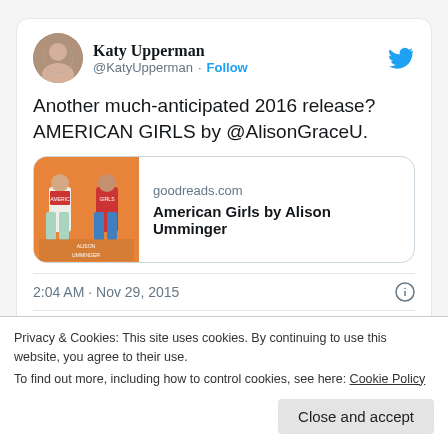Katy Upperman
@KatyUpperman · Follow
Another much-anticipated 2016 release? AMERICAN GIRLS by @AlisonGraceU.
[Figure (screenshot): Link card showing goodreads.com - American Girls by Alison Umminger with book cover thumbnail]
2:04 AM · Nov 29, 2015
1  Reply  Copy link
Explore what's happening on Twitter
Privacy & Cookies: This site uses cookies. By continuing to use this website, you agree to their use.
To find out more, including how to control cookies, see here: Cookie Policy
Close and accept
Ooh, can't wait to read 2016 release...